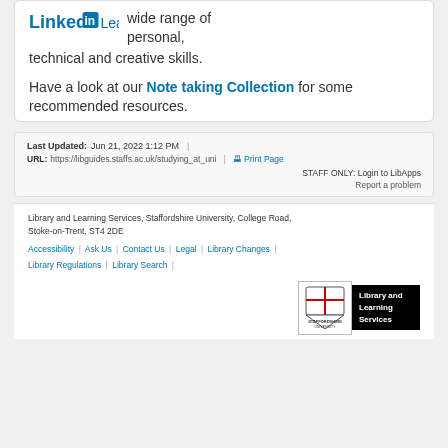[Figure (logo): LinkedIn Learning logo with blue text]
wide range of personal, technical and creative skills.
Have a look at our Note taking Collection for some recommended resources.
Last Updated: Jun 21, 2022 1:12 PM | URL: https://libguides.staffs.ac.uk/studying_at_uni | Print Page | STAFF ONLY: Login to LibApps | Report a problem
Library and Learning Services, Staffordshire University, College Road, Stoke-on-Trent, ST4 2DE
Accessibility | Ask Us | Contact Us | Legal | Library Changes | Library Regulations | Library Search
[Figure (logo): Staffordshire University logo and Library and Learning Services logo]